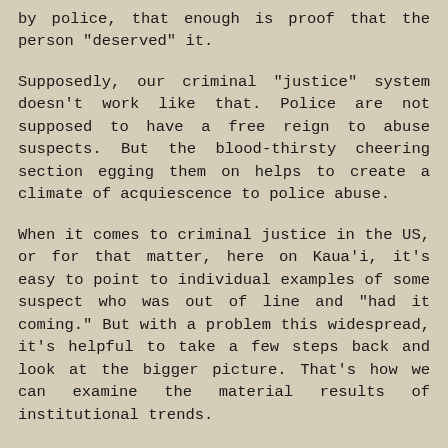by police, that enough is proof that the person "deserved" it.
Supposedly, our criminal "justice" system doesn't work like that. Police are not supposed to have a free reign to abuse suspects. But the blood-thirsty cheering section egging them on helps to create a climate of acquiescence to police abuse.
When it comes to criminal justice in the US, or for that matter, here on Kaua'i, it's easy to point to individual examples of some suspect who was out of line and "had it coming." But with a problem this widespread, it's helpful to take a few steps back and look at the bigger picture. That's how we can examine the material results of institutional trends.
For example, we need to ask ourselves why it is that while whites use drugs at roughly the same rate as other racial groups, whites are arrested at such a disproportiately lower rate. This is just one example of the inequities imbedded in the system. We're all accountable here, and it doesn't work to contend that the problem doesn't exist and that the...